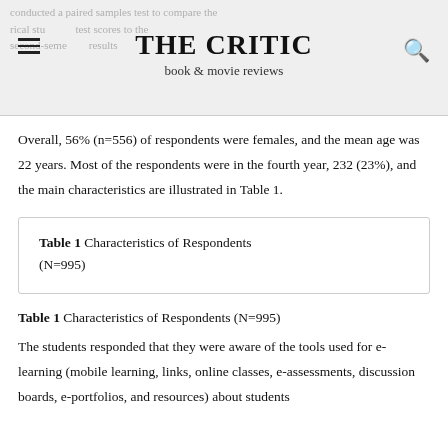THE CRITIC
book & movie reviews
Overall, 56% (n=556) of respondents were females, and the mean age was 22 years. Most of the respondents were in the fourth year, 232 (23%), and the main characteristics are illustrated in Table 1.
Table 1 Characteristics of Respondents (N=995)
Table 1 Characteristics of Respondents (N=995)
The students responded that they were aware of the tools used for e-learning (mobile learning, links, online classes, e-assessments, discussion boards, e-portfolios, and resources) about students